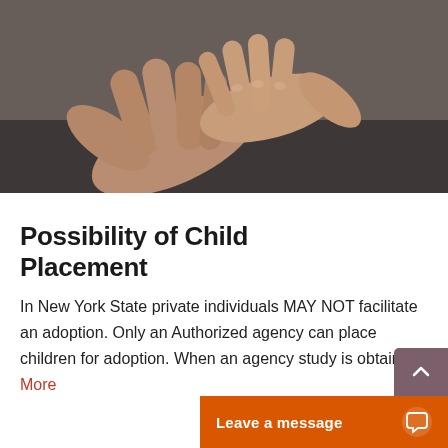[Figure (photo): Close-up photo of two hands touching — an adult hand and a child's hand placed on top, set against a dark grey background.]
Possibility of Child Placement
In New York State private individuals MAY NOT facilitate an adoption. Only an Authorized agency can place children for adoption. When an agency study is obtained, More